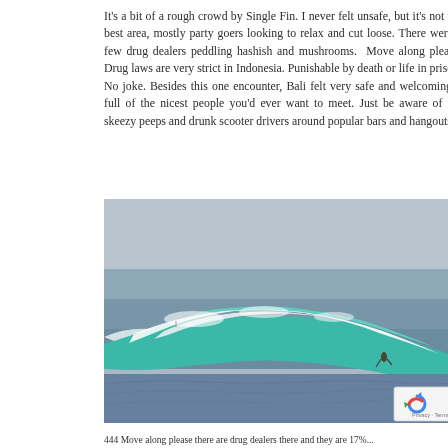It's a bit of a rough crowd by Single Fin. I never felt unsafe, but it's not the best area, mostly party goers looking to relax and cut loose. There were a few drug dealers peddling hashish and mushrooms.  Move along please. Drug laws are very strict in Indonesia. Punishable by death or life in prison. No joke. Besides this one encounter, Bali felt very safe and welcoming – full of the nicest people you'd ever want to meet. Just be aware of the skeezy peeps and drunk scooter drivers around popular bars and hangouts.
[Figure (photo): Ocean surf photo showing a large turquoise wave breaking with white foam. A surfer is visible near the wave. The ocean is grey-blue in the background with overcast sky.]